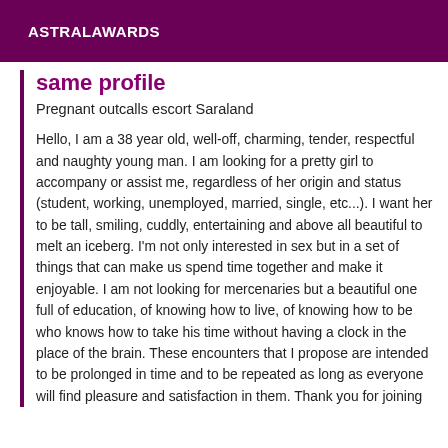ASTRALAWARDS
same profile
Pregnant outcalls escort Saraland
Hello, I am a 38 year old, well-off, charming, tender, respectful and naughty young man. I am looking for a pretty girl to accompany or assist me, regardless of her origin and status (student, working, unemployed, married, single, etc...). I want her to be tall, smiling, cuddly, entertaining and above all beautiful to melt an iceberg. I'm not only interested in sex but in a set of things that can make us spend time together and make it enjoyable. I am not looking for mercenaries but a beautiful one full of education, of knowing how to live, of knowing how to be who knows how to take his time without having a clock in the place of the brain. These encounters that I propose are intended to be prolonged in time and to be repeated as long as everyone will find pleasure and satisfaction in them. Thank you for joining